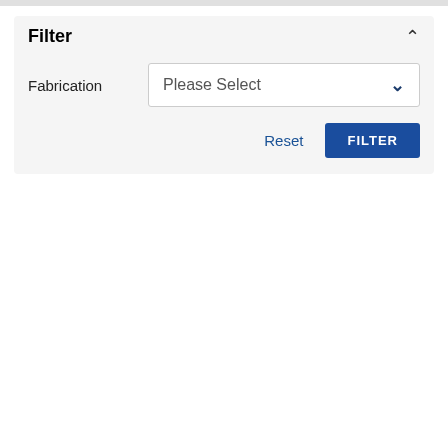Filter
Fabrication
Please Select
Reset
FILTER